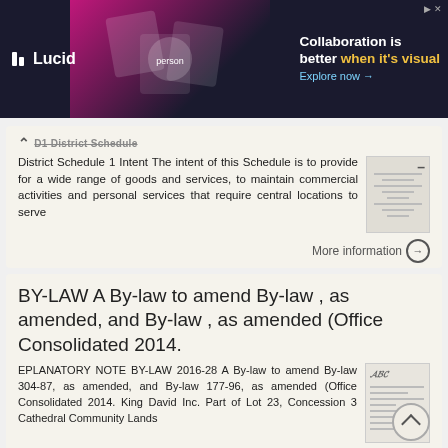[Figure (other): Lucid advertisement banner: 'Collaboration is better when it's visual. Explore now →']
District Schedule 1 Intent The intent of this Schedule is to provide for a wide range of goods and services, to maintain commercial activities and personal services that require central locations to serve
More information →
BY-LAW A By-law to amend By-law , as amended, and By-law , as amended (Office Consolidated 2014.
EPLANATORY NOTE BY-LAW 2016-28 A By-law to amend By-law 304-87, as amended, and By-law 177-96, as amended (Office Consolidated 2014. King David Inc. Part of Lot 23, Concession 3 Cathedral Community Lands